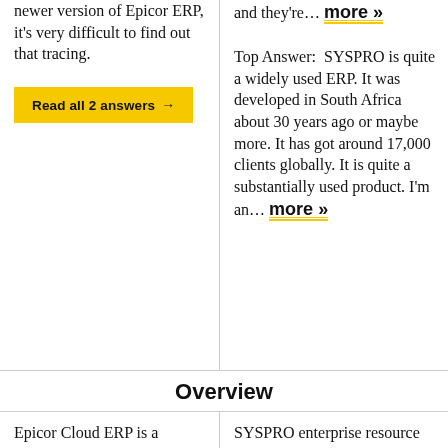newer version of Epicor ERP, it's very difficult to find out that tracing.
Read all 2 answers →
and they're... more »
Top Answer:  SYSPRO is quite a widely used ERP. It was developed in South Africa about 30 years ago or maybe more. It has got around 17,000 clients globally. It is quite a substantially used product. I'm an... more »
Overview
Epicor Cloud ERP is a comprehensive SaaS
SYSPRO enterprise resource planning